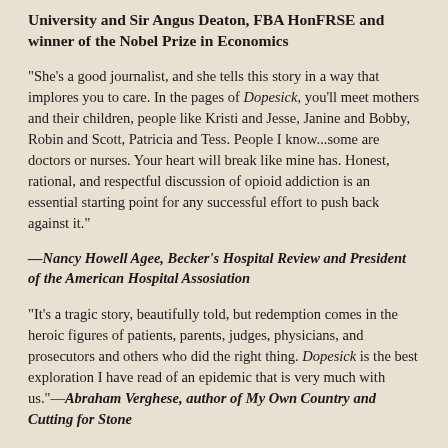University and Sir Angus Deaton, FBA HonFRSE and winner of the Nobel Prize in Economics
"She's a good journalist, and she tells this story in a way that implores you to care. In the pages of Dopesick, you'll meet mothers and their children, people like Kristi and Jesse, Janine and Bobby, Robin and Scott, Patricia and Tess. People I know...some are doctors or nurses. Your heart will break like mine has. Honest, rational, and respectful discussion of opioid addiction is an essential starting point for any successful effort to push back against it." —Nancy Howell Agee, Becker's Hospital Review and President of the American Hospital Assosiation
"It's a tragic story, beautifully told, but redemption comes in the heroic figures of patients, parents, judges, physicians, and prosecutors and others who did the right thing. Dopesick is the best exploration I have read of an epidemic that is very much with us."—Abraham Verghese, author of My Own Country and Cutting for Stone